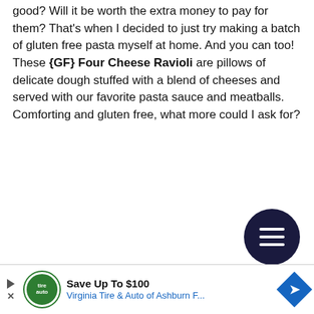good? Will it be worth the extra money to pay for them? That's when I decided to just try making a batch of gluten free pasta myself at home. And you can too! These {GF} Four Cheese Ravioli are pillows of delicate dough stuffed with a blend of cheeses and served with our favorite pasta sauce and meatballs. Comforting and gluten free, what more could I ask for?
[Figure (other): Dark navy circular hamburger menu button with three white horizontal lines]
[Figure (other): Advertisement bar: Virginia Tire & Auto of Ashburn F... - Save Up To $100, with green circular logo and blue diamond arrow icon]